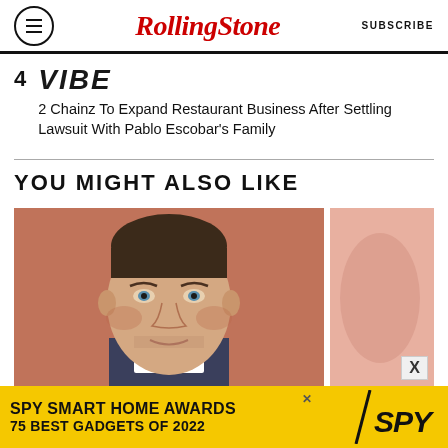RollingStone | SUBSCRIBE
4  VIBE
2 Chainz To Expand Restaurant Business After Settling Lawsuit With Pablo Escobar's Family
YOU MIGHT ALSO LIKE
[Figure (photo): Photo of a man in a suit jacket against an orange/red background at what appears to be a white event backdrop. A second partially visible photo is on the right.]
[Figure (other): Advertisement banner: SPY SMART HOME AWARDS 75 BEST GADGETS OF 2022 with SPY logo on yellow background]